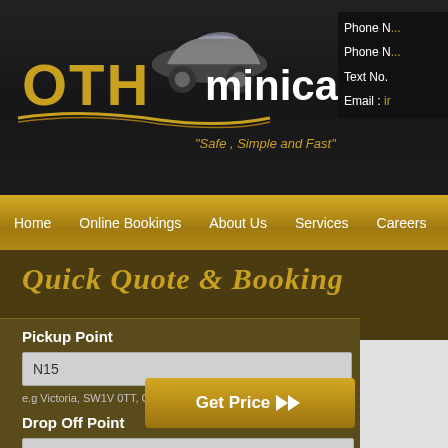[Figure (logo): OTH Minicabs logo with car graphic, gold and white text on dark background. Tagline: 'Safe, Simple and Fast']
Phone N...
Phone N...
Text No...
Email: ir...
Home
Online Bookings
About Us
Services
Careers
Quick Quote & Booking
Pickup Point
N15
e.g Victoria, SW1V 0TT, Gatwick Airport
Drop Off Point
e.g Brixton, SW2 0TT, Heathrow Airport,
Get Price